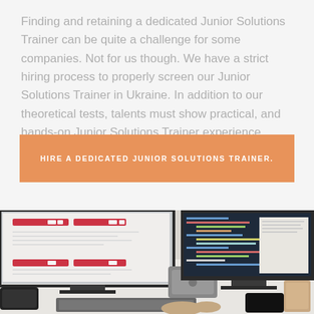Finding and retaining a dedicated Junior Solutions Trainer can be quite a challenge for some companies. Not for us though. We have a strict hiring process to properly screen our Junior Solutions Trainer in Ukraine. In addition to our theoretical tests, talents must show practical, and hands-on Junior Solutions Trainer experience.
HIRE A DEDICATED JUNIOR SOLUTIONS TRAINER.
[Figure (photo): A photo of a desk setup with two large monitors displaying code and application interfaces, a Mac Mini computer, keyboard, phone, and a coffee cup. A person's hands are visible using the keyboard.]